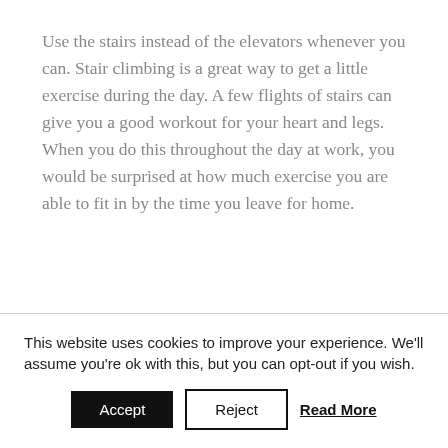Use the stairs instead of the elevators whenever you can. Stair climbing is a great way to get a little exercise during the day. A few flights of stairs can give you a good workout for your heart and legs. When you do this throughout the day at work, you would be surprised at how much exercise you are able to fit in by the time you leave for home.
This website uses cookies to improve your experience. We'll assume you're ok with this, but you can opt-out if you wish.